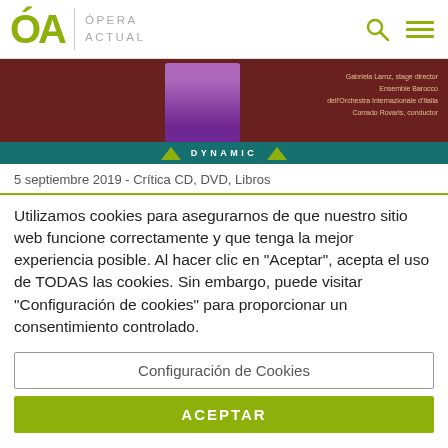ÓA Ópera Actual
[Figure (photo): Banner image for an opera CD/DVD release on Dynamic label, showing a purple-costumed figure and text credits: Gabriela Larnz stage director, Ensemble Barocco dell'Orchestra Internazionale d'Italia, Corrado Rovaris conductor. Teal Dynamic label bar at bottom with triangles.]
5 septiembre 2019 - Crítica CD, DVD, Libros
Utilizamos cookies para asegurarnos de que nuestro sitio web funcione correctamente y que tenga la mejor experiencia posible. Al hacer clic en "Aceptar", acepta el uso de TODAS las cookies. Sin embargo, puede visitar "Configuración de cookies" para proporcionar un consentimiento controlado.
Configuración de Cookies
ACEPTAR